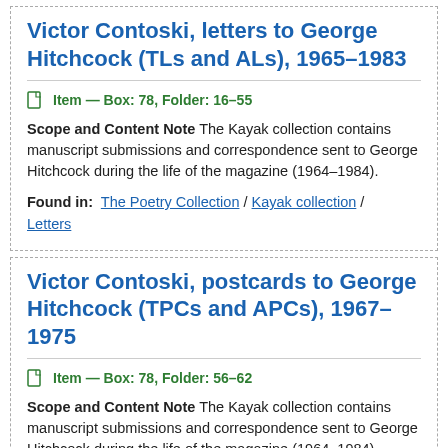Victor Contoski, letters to George Hitchcock (TLs and ALs), 1965–1983
Item — Box: 78, Folder: 16-55
Scope and Content Note The Kayak collection contains manuscript submissions and correspondence sent to George Hitchcock during the life of the magazine (1964–1984).
Found in: The Poetry Collection / Kayak collection / Letters
Victor Contoski, postcards to George Hitchcock (TPCs and APCs), 1967–1975
Item — Box: 78, Folder: 56-62
Scope and Content Note The Kayak collection contains manuscript submissions and correspondence sent to George Hitchcock during the life of the magazine (1964–1984).
Found in: The Poetry Collection / Kayak collection / ...